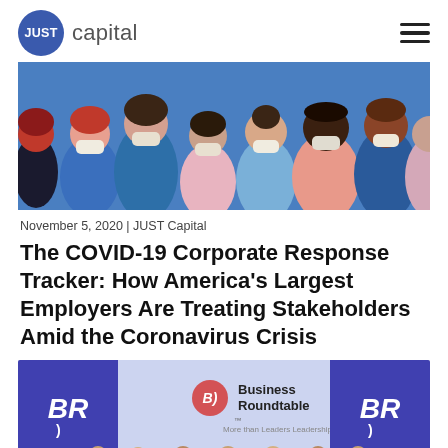JUST capital
[Figure (illustration): Colorful flat illustration of diverse people wearing face masks, depicted in blue, pink, orange, and dark tones against a blue background.]
November 5, 2020  |  JUST Capital
The COVID-19 Corporate Response Tracker: How America's Largest Employers Are Treating Stakeholders Amid the Coronavirus Crisis
[Figure (photo): Photo of a Business Roundtable event with people standing in front of Business Roundtable branded backdrop banners.]